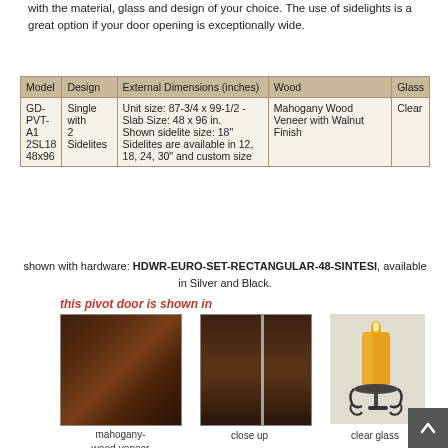with the material, glass and design of your choice. The use of sidelights is a great option if your door opening is exceptionally wide.
| Model | Design | External Dimensions (inches) | Wood | Glass |
| --- | --- | --- | --- | --- |
| GD-PVT-A1 2SL18 48x96 | Single with 2 Sidelites | Unit size: 87-3/4 x 99-1/2 - Slab Size: 48 x 96 in. Shown sidelite size: 18" Sidelites are available in 12, 18, 24, 30" and custom size | Mahogany Wood Veneer with Walnut Finish | Clear |
shown with hardware: HDWR-EURO-SET-RECTANGULAR-48-SINTESI, available in Silver and Black.
this pivot door is shown in
[Figure (photo): Mahogany wood veneer with walnut finish texture close-up]
mahogany-wood-veneer with walnut
[Figure (photo): Close up of pivot door with silver hardware]
close up
[Figure (photo): Clear glass example shown with candle holder decoration]
clear glass